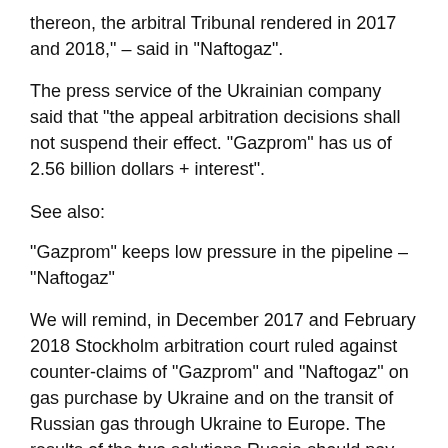thereon, the arbitral Tribunal rendered in 2017 and 2018," – said in "Naftogaz".
The press service of the Ukrainian company said that "the appeal arbitration decisions shall not suspend their effect. "Gazprom" has us of 2.56 billion dollars + interest".
See also:
"Gazprom" keeps low pressure in the pipeline – "Naftogaz"
We will remind, in December 2017 and February 2018 Stockholm arbitration court ruled against counter-claims of "Gazprom" and "Naftogaz" on gas purchase by Ukraine and on the transit of Russian gas through Ukraine to Europe. The results of the two solutions Russia should pay Ukraine of 2.56 billion dollars, but still the money did not give. "Gazprom" has declared that these decisions have created an imbalance in